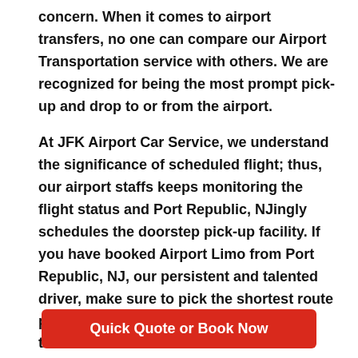concern. When it comes to airport transfers, no one can compare our Airport Transportation service with others. We are recognized for being the most prompt pick-up and drop to or from the airport.
At JFK Airport Car Service, we understand the significance of scheduled flight; thus, our airport staffs keeps monitoring the flight status and Port Republic, NJingly schedules the doorstep pick-up facility. If you have booked Airport Limo from Port Republic, NJ, our persistent and talented driver, make sure to pick the shortest route possible for your convenient and timely transit.
Quick Quote or Book Now